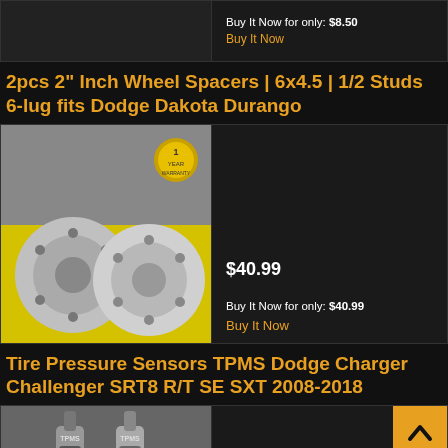Buy It Now for only: $8.50
Buy It Now
2pcs 2" Inch Wheel Spacers | 6x4.5 | 1/2 Studs 6-lug fits Dodge Dakota Durango
[Figure (photo): Two silver wheel spacers on yellow background with warranty badge]
$40.99
Buy It Now for only: $40.99
Buy It Now
Tire Pressure Sensors TPMS Dodge Charger Challenger SRT8 R/T SE SXT 2008-2018
[Figure (photo): TPMS tire pressure sensors photo]